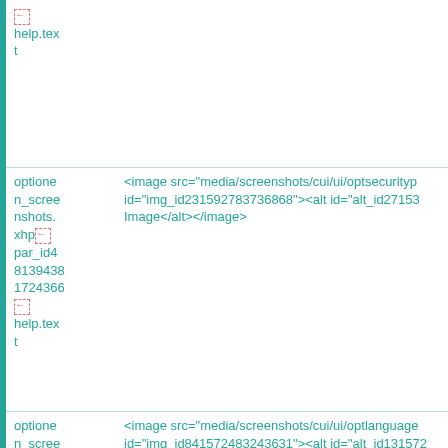| Column 1 | Column 2 |
| --- | --- |
| ↵
help.text |  |
| optionen_screenshots.xhp↵
par_id4
81394381724366
↵
help.text | <image src="media/screenshots/cui/ui/optsecurityp
id="img_id231592783736868"><alt id="alt_id271534
Image</alt></antml:image> |
| optionen_screenshots.xhp↵
par_id3 | <image src="media/screenshots/cui/ui/optlanguage
id="img_id841572483243631"><alt id="alt_id131572
Image</alt></antml:image> |